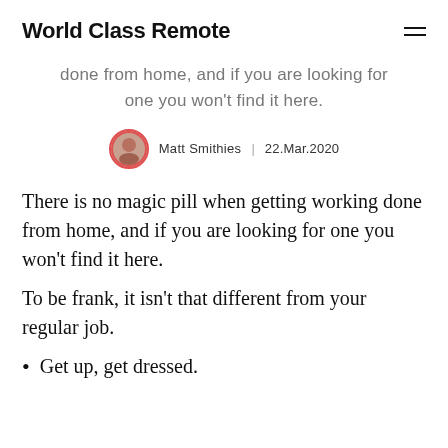World Class Remote
done from home, and if you are looking for one you won't find it here.
Matt Smithies  |  22.Mar.2020
There is no magic pill when getting working done from home, and if you are looking for one you won't find it here.
To be frank, it isn't that different from your regular job.
Get up, get dressed.